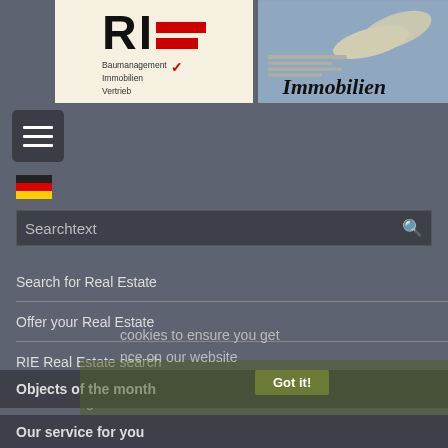[Figure (logo): RIE logo with red bars, text: Baumanagement Immobilien Vertrieb]
[Figure (photo): Newspaper photo with Immobilien headline]
[Figure (other): Hamburger menu button with three white lines on dark background]
[Figure (other): German flag icon]
Searchtext
Search for Real Estate
Offer your Real Estate
RIE Real Estate search
News & Registration
cookies to ensure you get
nce on our website
Objects of the month
Got it!
Our service for you